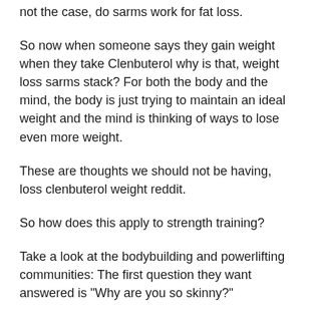not the case, do sarms work for fat loss.
So now when someone says they gain weight when they take Clenbuterol why is that, weight loss sarms stack? For both the body and the mind, the body is just trying to maintain an ideal weight and the mind is thinking of ways to lose even more weight.
These are thoughts we should not be having, loss clenbuterol weight reddit.
So how does this apply to strength training?
Take a look at the bodybuilding and powerlifting communities: The first question they want answered is "Why are you so skinny?"
You cannot argue that using Clenbuterol